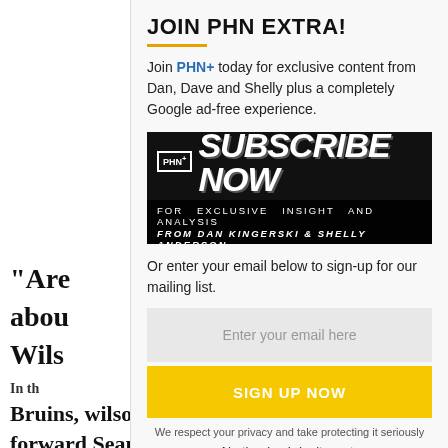“Are
abou
Wils
In th
Bruins, wilson made a beeline for Boston
forward Sean Kuraly, who was in a vulnerable
JOIN PHN EXTRA!
Join PHN+ today for exclusive content from Dan, Dave and Shelly plus a completely Google ad-free experience.
[Figure (other): PHN+ SUBSCRIBE NOW banner with text: FOR EXCLUSIVE INSIGHT AND ANALYSIS FROM DAN KINGERSKI & SHELLY ANDERSON]
Or enter your email below to sign-up for our mailing list.
Enter your email here
SIGN UP NOW
We respect your privacy and take protecting it seriously
No thanks. I don't want.